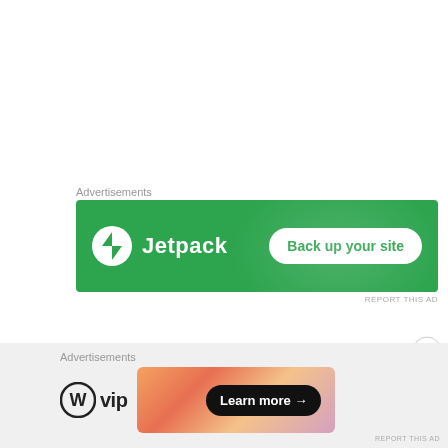Advertisements
[Figure (screenshot): Jetpack advertisement banner with green background showing Jetpack logo and 'Back up your site' button]
REPORT THIS AD
[Figure (screenshot): Close/X button circle icon]
Advertisements
[Figure (screenshot): WordPress VIP advertisement with WP VIP logo on left and gradient banner with 'Learn more' button on right]
REPORT THIS AD